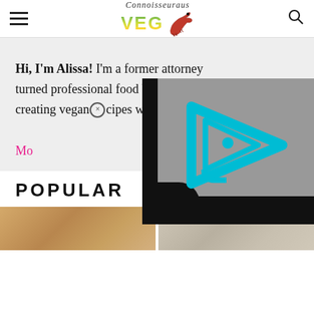Connoisseuraus VEG — site header with hamburger menu and search icon
Hi, I'm Alissa! I'm a former attorney turned professional food blogger. I love creating vegan recipes with bold flavors!
Mo
[Figure (screenshot): Video player overlay with play button icon (cyan triangular play arrow logo on gray background with black borders)]
POPULAR
[Figure (photo): Two food thumbnail images at bottom of page]